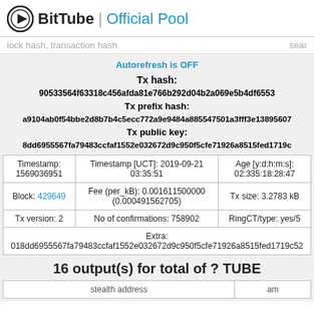BitTube | Official Pool
lock hash, transaction hash   sear
Autorefresh is OFF
Tx hash: 90533564f63318c456afda81e766b292d04b2a069e5b4df6553...
Tx prefix hash: a9104ab0f54bbe2d8b7b4c5ecc772a9e9484a885547501a3fff3e13895607...
Tx public key: 8dd6955567fa79483ccfaf1552e032672d9c950f5cfe71926a8515fed1719c...
| Timestamp | Timestamp [UCT] | Age [y:d:h:m:s] |
| --- | --- | --- |
| Timestamp:
1569036951 | Timestamp [UCT]: 2019-09-21
03:35:51 | Age [y:d:h:m:s]:
02:335:18:28:47 |
| Block: 429649 | Fee (per_kB): 0.001611500000
(0.000491562705) | Tx size: 3.2783 kB |
| Tx version: 2 | No of confirmations: 758902 | RingCT/type: yes/5 |
| Extra:
018dd6955567fa79483ccfaf1552e032672d9c950f5cfe71926a8515fed1719c52 |  |  |
16 output(s) for total of ? TUBE
| stealth address | am |
| --- | --- |